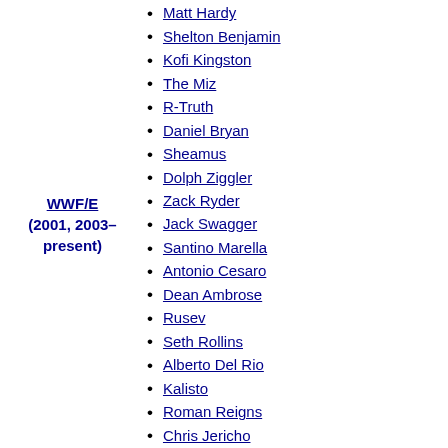WWF/E (2001, 2003–present)
Matt Hardy
Shelton Benjamin
Kofi Kingston
The Miz
R-Truth
Daniel Bryan
Sheamus
Dolph Ziggler
Zack Ryder
Jack Swagger
Santino Marella
Antonio Cesaro
Dean Ambrose
Rusev
Seth Rollins
Alberto Del Rio
Kalisto
Roman Reigns
Chris Jericho
Kevin Owens
AJ Styles
Baron Corbin
Bobby Roode
Randy Orton
Jinder Mahal